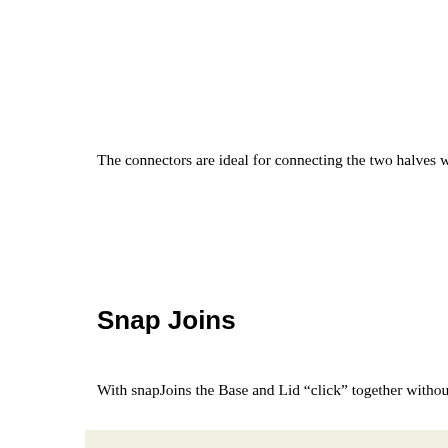The connectors are ideal for connecting the two halves with so-
Snap Joins
With snapJoins the Base and Lid “click” together without the ne
[Figure (engineering-diagram): 3D CAD rendering of a snap-join box assembly showing Base and Lid components in green/yellow with red and blue curved arrows indicating snap-join connection points on the four corners. Code snippet visible on the left showing snapJoins array syntax with yappLeft, yappRight, yappFront, yappBack, yappSymmetric parameters. Labels BACK and FRONT visible on the 3D model. A red square icon with an up-arrow symbol visible at bottom right.]